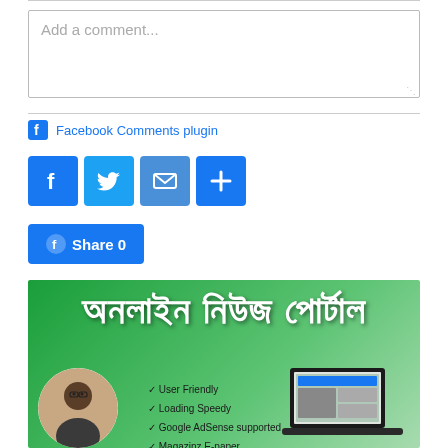Add a comment...
Facebook Comments plugin
[Figure (infographic): Social share icons: Facebook (blue), Twitter (light blue), Email (blue), Plus/More (blue)]
[Figure (infographic): Facebook Share button with count 0]
[Figure (infographic): Online news portal advertisement banner in Bengali with green background, features list (User Friendly, Loading Speedy, Google AdSense supported, Magazinz E-paper, Online TV), person photo and laptop image]